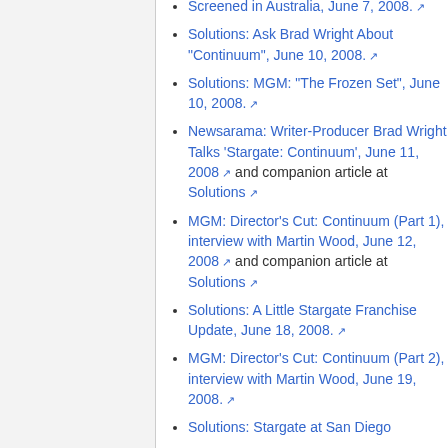Screened in Australia, June 7, 2008.
Solutions: Ask Brad Wright About "Continuum", June 10, 2008.
Solutions: MGM: "The Frozen Set", June 10, 2008.
Newsarama: Writer-Producer Brad Wright Talks 'Stargate: Continuum', June 11, 2008 and companion article at Solutions
MGM: Director's Cut: Continuum (Part 1), interview with Martin Wood, June 12, 2008 and companion article at Solutions
Solutions: A Little Stargate Franchise Update, June 18, 2008.
MGM: Director's Cut: Continuum (Part 2), interview with Martin Wood, June 19, 2008.
Solutions: Stargate at San Diego